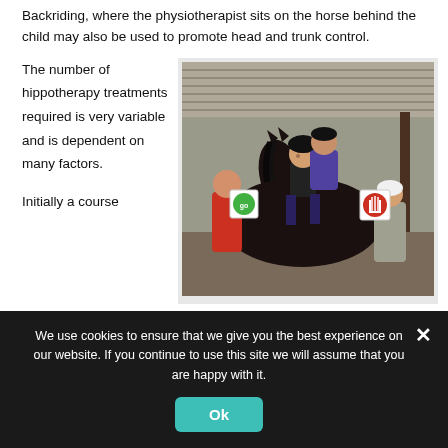Backriding, where the physiotherapist sits on the horse behind the child may also be used to promote head and trunk control.
The number of hippotherapy treatments required is very variable and is dependent on many factors.
[Figure (photo): A child sitting on a dark horse in an indoor stable/arena. An adult (physiotherapist) sits behind the child on the horse. Two other people stand beside the horse. One person holds a green 'go' sign and another holds a red 'stop' hand sign.]
Initially a course
We use cookies to ensure that we give you the best experience on our website. If you continue to use this site we will assume that you are happy with it.